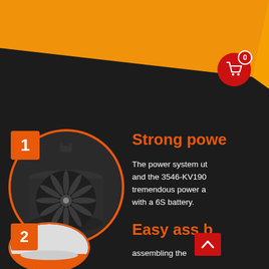[Figure (illustration): Orange diagonal banner across the top of the page on a dark background, with a red shopping cart icon badge showing '0' in the top right corner]
[Figure (photo): Circular cropped photo of a black ducted fan / EDF unit (electric ducted fan) with multiple blades visible, mounted in a black housing with a clip at top. Number badge '1' in orange square at top-left of circle.]
Strong powe
The power system ut and the 3546-KV190 tremendous power a with a 6S battery.
[Figure (photo): Circular cropped photo showing the underside of a white RC aircraft fuselage with orange accent, partially visible. Number badge '2' in orange square at top-left of circle.]
Easy ass b
assembling the